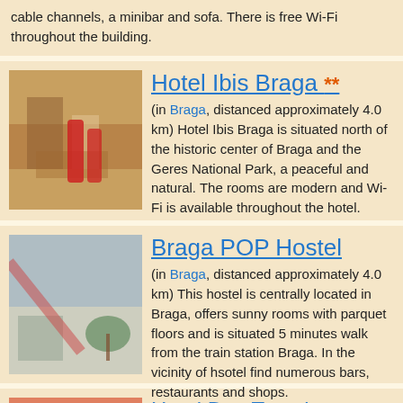cable channels, a minibar and sofa. There is free Wi-Fi throughout the building.
Hotel Ibis Braga **
(in Braga, distanced approximately 4.0 km) Hotel Ibis Braga is situated north of the historic center of Braga and the Geres National Park, a peaceful and natural. The rooms are modern and Wi-Fi is available throughout the hotel.
Braga POP Hostel
(in Braga, distanced approximately 4.0 km) This hostel is centrally located in Braga, offers sunny rooms with parquet floors and is situated 5 minutes walk from the train station Braga. In the vicinity of hsotel find numerous bars, restaurants and shops.
Hotel Dos Terceiros **
(in Braga, distanced approximately 4.3 km) Two Terceiro Hotel has rooms with air